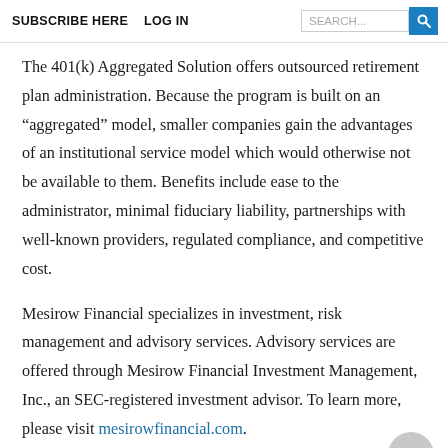SUBSCRIBE HERE   LOG IN   [SEARCH]
The 401(k) Aggregated Solution offers outsourced retirement plan administration. Because the program is built on an “aggregated” model, smaller companies gain the advantages of an institutional service model which would otherwise not be available to them. Benefits include ease to the administrator, minimal fiduciary liability, partnerships with well-known providers, regulated compliance, and competitive cost.
Mesirow Financial specializes in investment, risk management and advisory services. Advisory services are offered through Mesirow Financial Investment Management, Inc., an SEC-registered investment advisor. To learn more, please visit mesirowfinancial.com.